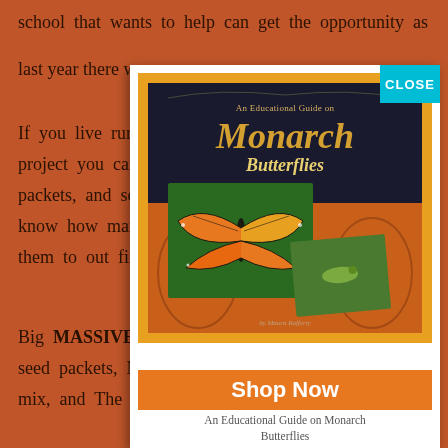school that wants to help can get the opportunity as
last year there w
If you live rura project you can packets, and so know how many them to out fina
[Figure (illustration): Book cover popup modal for 'An Educational Guide on Monarch Butterflies' showing the book cover with monarch butterfly images, a 'Shop Now' button on orange background, a CLOSE button in teal, and caption text below]
An Educational Guide on Monarch Butterflies
Big MASSIVE th seed packets, M mix, and The Bu